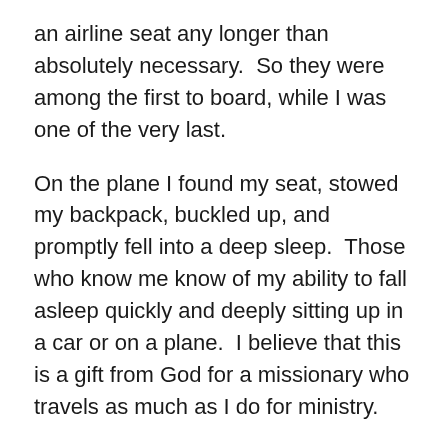an airline seat any longer than absolutely necessary.  So they were among the first to board, while I was one of the very last.
On the plane I found my seat, stowed my backpack, buckled up, and promptly fell into a deep sleep.  Those who know me know of my ability to fall asleep quickly and deeply sitting up in a car or on a plane.  I believe that this is a gift from God for a missionary who travels as much as I do for ministry.
As we were about to land I woke up and reached for the bottle of water that I had brought.  In my peripheral vision I saw a boldly striped blue shirt on the person sitting next to me—it was the Brazilian father with his daughter next to him in the window seat.  "It's you!"  I exclaimed, and we laughed about how I had been so sleepy that I hadn't even